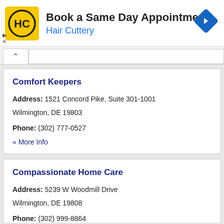[Figure (advertisement): Hair Cuttery advertisement banner with HC logo, text 'Book a Same Day Appointment', 'Hair Cuttery', and a blue diamond navigation arrow icon. Small ad control icons (play/close) on the left.]
Comfort Keepers
Address: 1521 Concord Pike, Suite 301-1001 Wilmington, DE 19803
Phone: (302) 777-0527
» More Info
Compassionate Home Care
Address: 5239 W Woodmill Drive Wilmington, DE 19808
Phone: (302) 999-8864